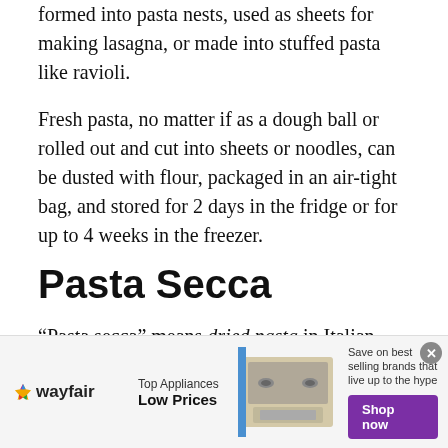formed into pasta nests, used as sheets for making lasagna, or made into stuffed pasta like ravioli.
Fresh pasta, no matter if as a dough ball or rolled out and cut into sheets or noodles, can be dusted with flour, packaged in an air-tight bag, and stored for 2 days in the fridge or for up to 4 weeks in the freezer.
Pasta Secca
“Pasta secca” means dried pasta in Italian.
[Figure (other): Wayfair advertisement banner: Top Appliances Low Prices, with a photo of a stove/range, and a 'Shop now' button. Text: Save on best selling brands that live up to the hype.]